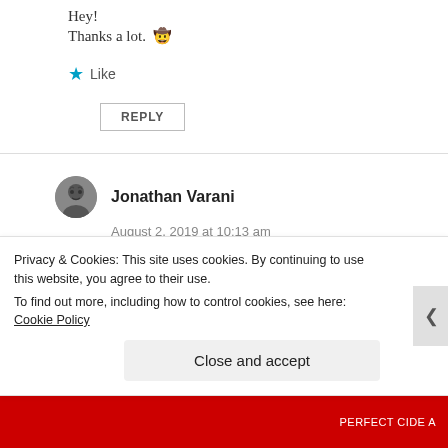Hey!
Thanks a lot. 🤠
Like
REPLY
Jonathan Varani
August 2, 2019 at 10:13 am
An apocalypse gives birth to many other apocalypses. An infinite motion.
You used magnificent words.
Privacy & Cookies: This site uses cookies. By continuing to use this website, you agree to their use.
To find out more, including how to control cookies, see here: Cookie Policy
Close and accept